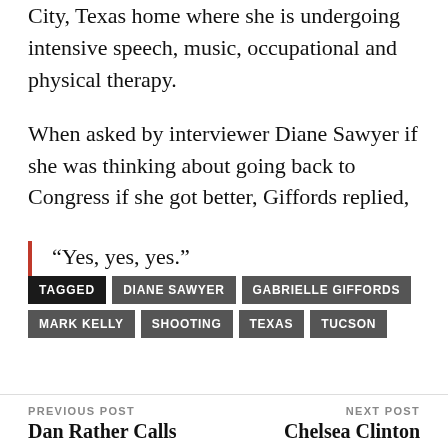City, Texas home where she is undergoing intensive speech, music, occupational and physical therapy.
When asked by interviewer Diane Sawyer if she was thinking about going back to Congress if she got better, Giffords replied,
“Yes, yes, yes.”
TAGGED  DIANE SAWYER  GABRIELLE GIFFORDS  MARK KELLY  SHOOTING  TEXAS  TUCSON
PREVIOUS POST  Dan Rather Calls  NEXT POST  Chelsea Clinton